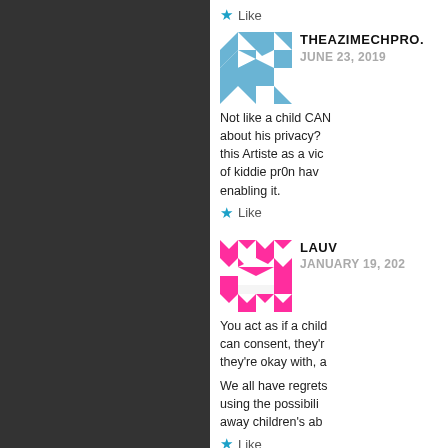Like
THEAZIMECHPRO.
JUNE 23, 2019
Not like a child CAN about his privacy? this Artiste as a vic of kiddie pr0n hav enabling it.
Like
LAUV
JANUARY 19, 202
You act as if a child can consent, they'r they're okay with, a
We all have regrets using the possibili away children's ab
Like